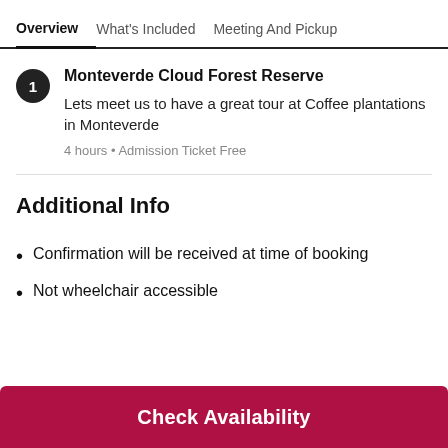Overview  What's Included  Meeting And Pickup
Monteverde Cloud Forest Reserve
Lets meet us to have a great tour at Coffee plantations in Monteverde
4 hours • Admission Ticket Free
Additional Info
Confirmation will be received at time of booking
Not wheelchair accessible
Check Availability